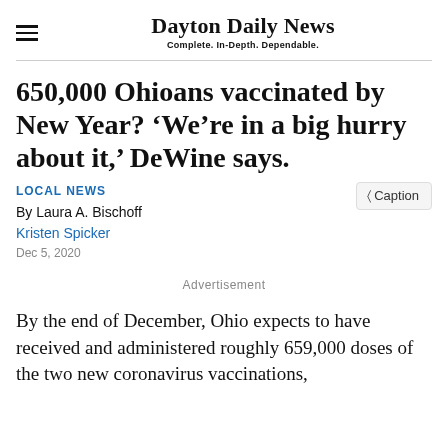Dayton Daily News
Complete. In-Depth. Dependable.
650,000 Ohioans vaccinated by New Year? ‘We’re in a big hurry about it,’ DeWine says.
LOCAL NEWS
By Laura A. Bischoff
Kristen Spicker
Dec 5, 2020
〈 Caption
Advertisement
By the end of December, Ohio expects to have received and administered roughly 659,000 doses of the two new coronavirus vaccinations,